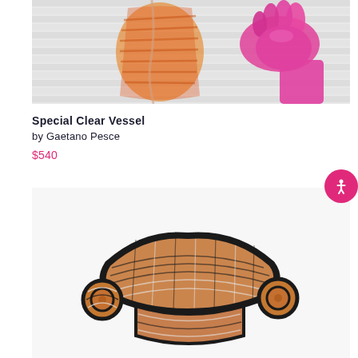[Figure (photo): Photo of a translucent orange/pink vessel or sculpture against white venetian blinds, with a pink gloved hand reaching toward it from the right.]
Special Clear Vessel
by Gaetano Pesce
$540
[Figure (photo): Photo of a woven rope or cord stool/object in black, white, and orange colors, shaped like a curvy seat with coiled legs, on a white background.]